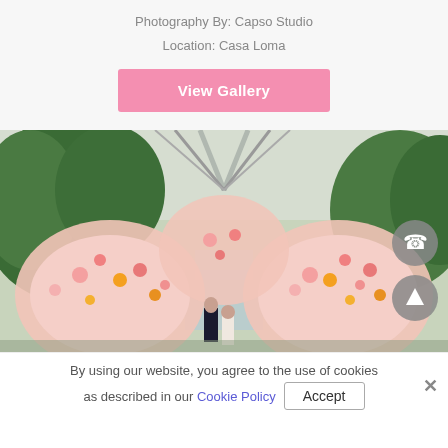Photography By: Capso Studio
Location: Casa Loma
View Gallery
[Figure (photo): Wedding ceremony photo with couple standing under large floral arches made of pink, orange, and red flowers with a fountain and green trees in the background at Casa Loma]
By using our website, you agree to the use of cookies as described in our Cookie Policy